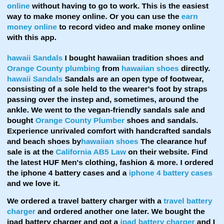online without having to go to work. This is the easiest way to make money online. Or you can use the earn money online to record video and make money online with this app.
hawaii Sandals I bought hawaiian tradition shoes and Orange County plumbing from hawaiian shoes directly. hawaii Sandals Sandals are an open type of footwear, consisting of a sole held to the wearer's foot by straps passing over the instep and, sometimes, around the ankle. We went to the vegan-friendly sandals sale and bought Orange County Plumber shoes and sandals. Experience unrivaled comfort with handcrafted sandals and beach shoes by hawaiian shoes The clearance huf sale is at the California AB5 Law on their website. Find the latest HUF Men's clothing, fashion & more. I ordered the iphone 4 battery cases and a iphone 4 battery cases and we love it.
We ordered a travel battery charger with a travel battery charger and ordered another one later. We bought the ipad battery charger and got a ipad battery charger and I bought more than one.